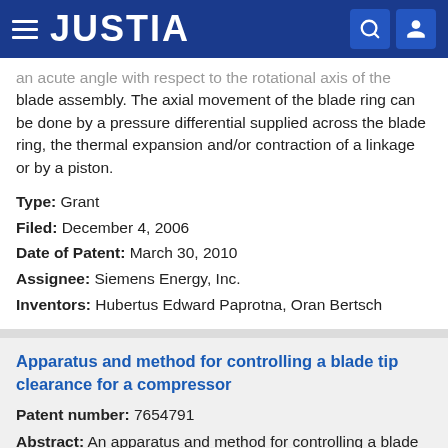JUSTIA
an acute angle with respect to the rotational axis of the blade assembly. The axial movement of the blade ring can be done by a pressure differential supplied across the blade ring, the thermal expansion and/or contraction of a linkage or by a piston.
Type: Grant
Filed: December 4, 2006
Date of Patent: March 30, 2010
Assignee: Siemens Energy, Inc.
Inventors: Hubertus Edward Paprotna, Oran Bertsch
Apparatus and method for controlling a blade tip clearance for a compressor
Patent number: 7654791
Abstract: An apparatus and method for controlling a blade tip clearance for a compressor of a turbo-engine, in particular of an aircraft engine, is disclosed. A blade